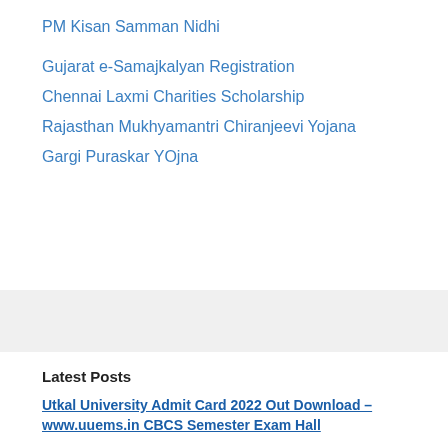PM Kisan Samman Nidhi
Gujarat e-Samajkalyan Registration
Chennai Laxmi Charities Scholarship
Rajasthan Mukhyamantri Chiranjeevi Yojana
Gargi Puraskar YOjna
Latest Posts
Utkal University Admit Card 2022 Out Download – www.uuems.in CBCS Semester Exam Hall